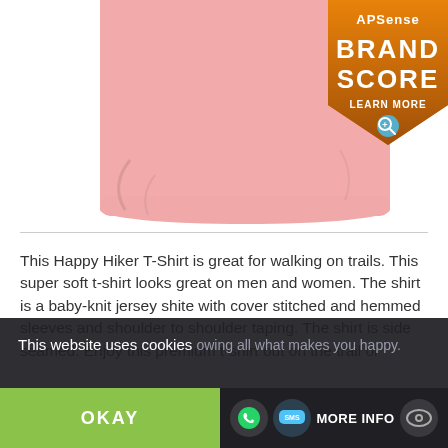[Figure (photo): Bottom portion of a pink Happy Hiker T-Shirt product photo on white background]
[Figure (logo): APSense Brand Score badge - orange/brown shield shape with text 'APSense BRAND SCORE LEARN MORE' and a magnifying glass icon]
This Happy Hiker T-Shirt is great for walking on trails. This super soft t-shirt looks great on men and women. The shirt is a baby-knit jersey shite with cover stitched and hemmed sleeves and shoulder to shoulder taping. The shirt is side seamed. Enjoy this premium t-shirt out on the trail or showing all what makes you happy.
This website uses cookies
OKAY
MORE INFO